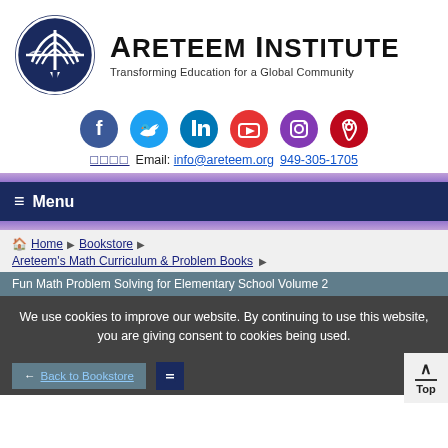[Figure (logo): Areteem Institute logo: dark blue circular globe/compass design with a figure]
Areteem Institute
Transforming Education for a Global Community
[Figure (infographic): Row of 6 social media icons: Facebook (blue), Twitter (light blue), LinkedIn (dark blue), YouTube (red), Instagram (purple), Pinterest (red)]
□□□□  Email: info@areteem.org  949-305-1705
≡ Menu
🏠 Home ▶ Bookstore ▶
Areteem's Math Curriculum & Problem Books ▶
Fun Math Problem Solving for Elementary School Volume 2
We use cookies to improve our website. By continuing to use this website, you are giving consent to cookies being used.
← Back to Bookstore
Top